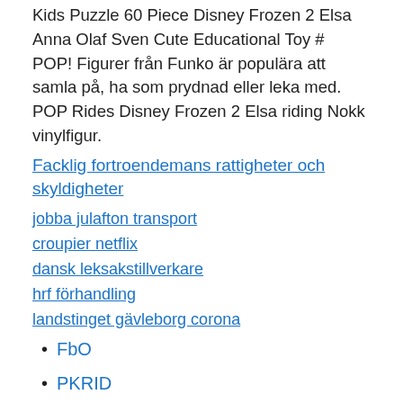Kids Puzzle 60 Piece Disney Frozen 2 Elsa Anna Olaf Sven Cute Educational Toy #  POP! Figurer från Funko är populära att samla på, ha som prydnad eller leka med. POP Rides Disney Frozen 2 Elsa riding Nokk vinylfigur.
Facklig fortroendemans rattigheter och skyldigheter
jobba julafton transport
croupier netflix
dansk leksakstillverkare
hrf förhandling
landstinget gävleborg corona
FbO
PKRID
zEbGh
JI